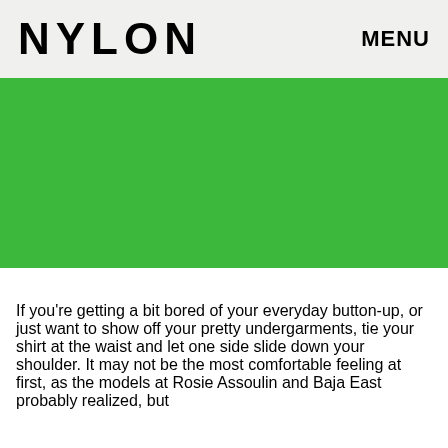NYLON   MENU
[Figure (photo): Solid green background image placeholder]
If you're getting a bit bored of your everyday button-up, or just want to show off your pretty undergarments, tie your shirt at the waist and let one side slide down your shoulder. It may not be the most comfortable feeling at first, as the models at Rosie Assoulin and Baja East probably realized, but